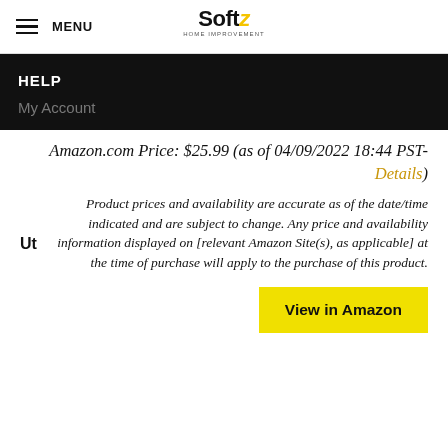MENU | Softz HOME IMPROVEMENT
HELP
My Account
Amazon.com Price: $25.99 (as of 04/09/2022 18:44 PST- Details)
Product prices and availability are accurate as of the date/time indicated and are subject to change. Any price and availability information displayed on [relevant Amazon Site(s), as applicable] at the time of purchase will apply to the purchase of this product.
View in Amazon